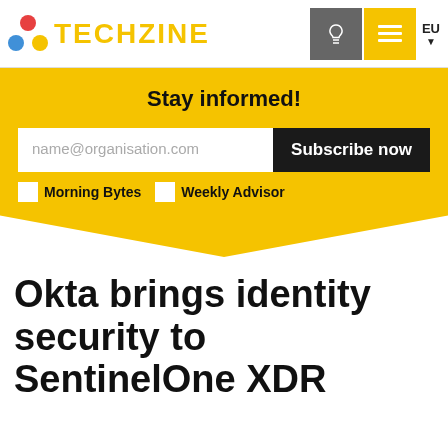TECHZINE
Stay informed!
name@organisation.com  Subscribe now
Morning Bytes  Weekly Advisor
Okta brings identity security to SentinelOne XDR